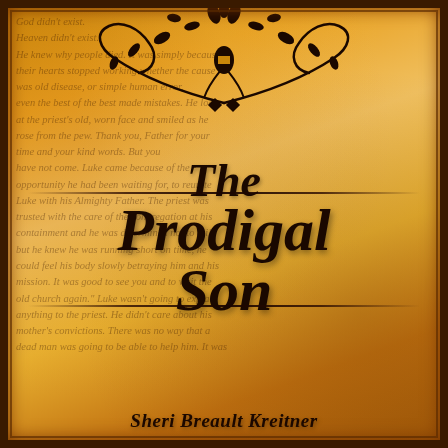[Figure (illustration): Book cover for 'The Prodigal Son' by Sheri Breault Kreitner. Aged parchment/golden-brown background with faded italic text excerpt from the book. Decorative black floral/vine ornament at the top. Bold italic black title text 'The Prodigal Son' in the center with horizontal rules above and below. Author name 'Sheri Breault Kreitner' in italic at the bottom.]
The Prodigal Son
God didn't exist. Heaven didn't exist. He knew why people died. It was simply because their hearts stopped working whether the cause was old disease, or simple human error, even the best of the best made mistakes. He looked at the priest's old, worn face and smiled as he rose from the pew. Thank you, Father for your time and your kind words. But you have not come. Luke came because of the opportunity he had been waiting for, to reunite Luke with his Almighty Father. The priest was trusted with the care of the congregation at his containment and he was determined not to fail, but he knew he was running short on time, he could feel his body slowly betraying him and his mission. It was good to see you and to visit the old church again. Luke wasn't going to explain anything to the priest. He didn't care about his mother's convictions. There was no way that a dead man was going to be able to help him. It was
Sheri Breault Kreitner